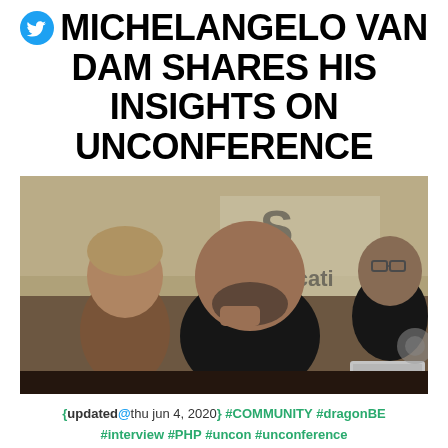MICHELANGELO VAN DAM SHARES HIS INSIGHTS ON UNCONFERENCE
[Figure (photo): Photo of people seated at an event/unconference, with a bearded man in a black shirt in the foreground touching his chin thoughtfully, another man with light hair to his left, and a third man wearing glasses in the background right. A sign partially visible reads 'plicati' and there is a laptop visible in the background.]
{updated@thu jun 4, 2020} #COMMUNITY #dragonBE #interview #PHP #uncon #unconference